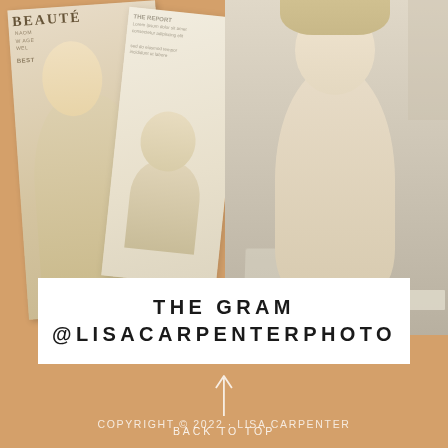[Figure (photo): Collage of two photos: left shows a magazine cover featuring a blonde woman in a fashion pose with magazine text visible (partial word 'BEAUTE'), overlapping with newspaper clippings; right shows a smiling woman with long blonde hair sitting at a white desk with a laptop, wearing a pink striped shirt.]
THE GRAM
@LISACARPENTERPHOTO
BACK TO TOP
COPYRIGHT © 2022 · LISA CARPENTER